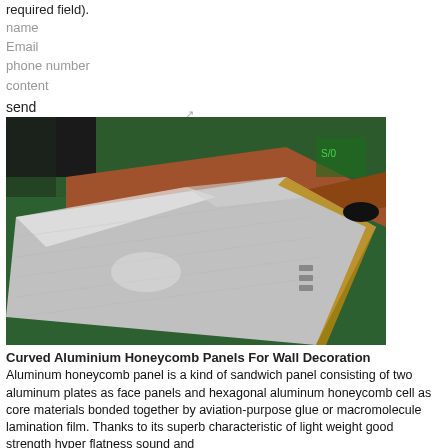required field).
name
Email
phone number
content
send
[Figure (photo): Photo of a curved aluminium honeycomb panel on a green workbench surface, showing the shiny metallic face and brown edge material]
Curved Aluminium Honeycomb Panels For Wall Decoration
Aluminum honeycomb panel is a kind of sandwich panel consisting of two aluminum plates as face panels and hexagonal aluminum honeycomb cell as core materials bonded together by aviation-purpose glue or macromolecule lamination film. Thanks to its superb characteristic of light weight good strength hyper flatness sound and